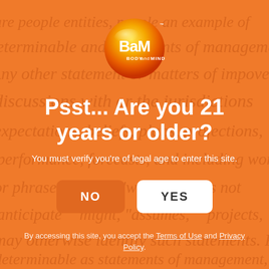[Figure (logo): BaM Body and Mind circular logo with yellow and red gradient circle, white BaM text, smaller 'BODY and MIND' text below]
Psst... Are you 21 years or older?
You must verify you're of legal age to enter this site.
NO
YES
By accessing this site, you accept the Terms of Use and Privacy Policy.